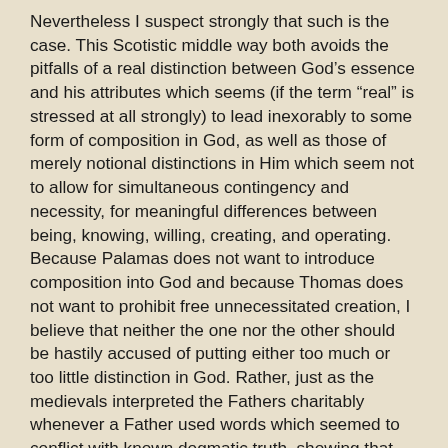Nevertheless I suspect strongly that such is the case. This Scotistic middle way both avoids the pitfalls of a real distinction between God’s essence and his attributes which seems (if the term “real” is stressed at all strongly) to lead inexorably to some form of composition in God, as well as those of merely notional distinctions in Him which seem not to allow for simultaneous contingency and necessity, for meaningful differences between being, knowing, willing, creating, and operating. Because Palamas does not want to introduce composition into God and because Thomas does not want to prohibit free unnecessitated creation, I believe that neither the one nor the other should be hastily accused of putting either too much or too little distinction in God. Rather, just as the medievals interpreted the Fathers charitably whenever a Father used words which seemed to conflict with known dogmatic truth, showing that the Father could be understood in an orthodox way as well as in the apparently heretical way, so we ourselves should charitably interpret the medievals. Thus before we accuse Thomas’ views of inevitably implying consequences which he himself would condemn as damnable heresy, it is our duty to ask ourselves if his views can be understood in a manner which